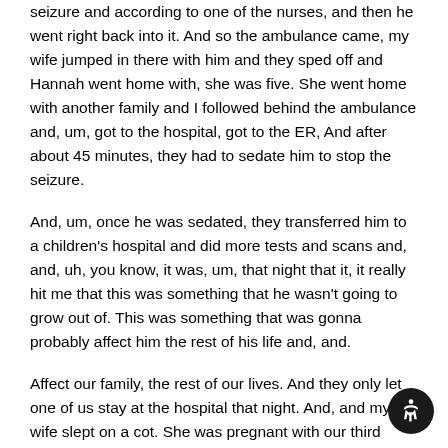seizure and according to one of the nurses, and then he went right back into it. And so the ambulance came, my wife jumped in there with him and they sped off and Hannah went home with, she was five. She went home with another family and I followed behind the ambulance and, um, got to the hospital, got to the ER, And after about 45 minutes, they had to sedate him to stop the seizure.
And, um, once he was sedated, they transferred him to a children's hospital and did more tests and scans and, and, uh, you know, it was, um, that night that it, it really hit me that this was something that he wasn't going to grow out of. This was something that was gonna probably affect him the rest of his life and, and.
Affect our family, the rest of our lives. And they only let one of us stay at the hospital that night. And, and my wife slept on a cot. She was pregnant with our third child. I went back to the dorm room and the last site that I had on my son was in a hospital crib with,